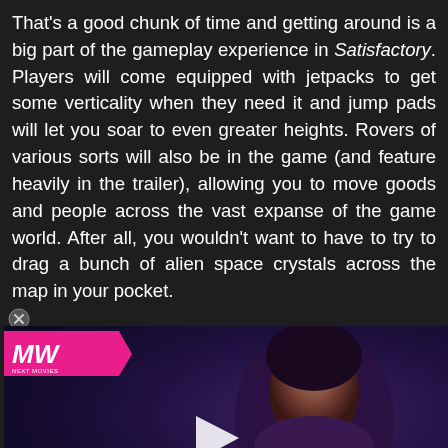That's a good chunk of time and getting around is a big part of the gameplay experience in Satisfactory. Players will come equipped with jetpacks to get some verticality when they need it and jump pads will let you soar to even greater heights. Rovers of various sorts will also be in the game (and feature heavily in the trailer), allowing you to move goods and people across the vast expanse of the game world. After all, you wouldn't want to have to try to drag a bunch of alien space crystals across the map in your pocket.
[Figure (screenshot): Advertisement banner for 'Best Zombie Games' video from MWN (Next Movies/Games). Shows a dark-toned female game character (resembling Ellie from The Last of Us) with a play button overlay. MWN logo in pink badge top-left. Text reads BEST ZOMBIE GAMES in white and pink.]